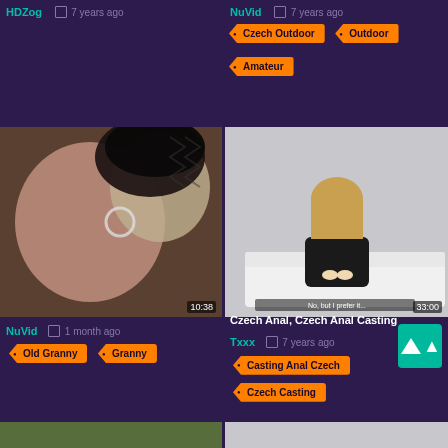HDZog   7 years ago
NuVid   7 years ago
Czech Outdoor
Outdoor
Amateur
[Figure (photo): Video thumbnail showing close-up of two people, duration 10:38]
[Figure (photo): Video thumbnail showing woman sitting on white couch in black top, duration 33:00]
NuVid   1 month ago
Czech Anal, Czech Anal Casting
Txxx   7 years ago
Old Granny
Granny
Casting Anal Czech
Czech Casting
[Figure (photo): Partial video thumbnail at bottom left, outdoor scene]
[Figure (photo): Partial video thumbnail at bottom right]